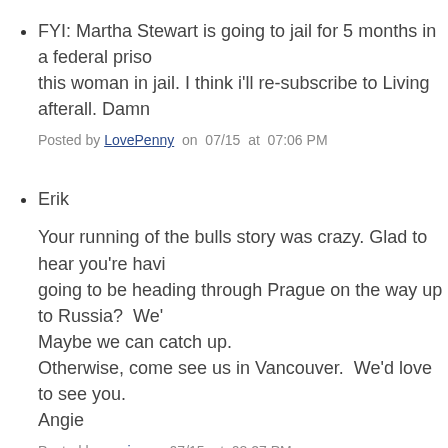FYI: Martha Stewart is going to jail for 5 months in a federal prison... this woman in jail. I think i'll re-subscribe to Living afterall. Damn
Posted by LovePenny on 07/15 at 07:06 PM
Erik
Your running of the bulls story was crazy. Glad to hear you're having a great time. Are you going to be heading through Prague on the way up to Russia? We're here until the end of August. Maybe we can catch up.
Otherwise, come see us in Vancouver. We'd love to see you.
Angie
Posted by angie on 07/15 at 08:27 PM
Great pics, as usual. That palace looks even bigger than Buckingham... collection—that stuff's so neat.
I'm starting to think Jack's bad for your image, dude. Soon he's going to be asking for directions again! That dog.